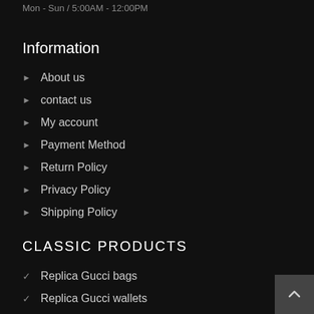Mon - Sun / 5:00AM - 12:00PM
Information
About us
contact us
My account
Payment Method
Return Policy
Privacy Policy
Shipping Policy
CLASSIC PRODUCTS
Replica Gucci bags
Replica Gucci wallets
Replica Gucci (truncated)